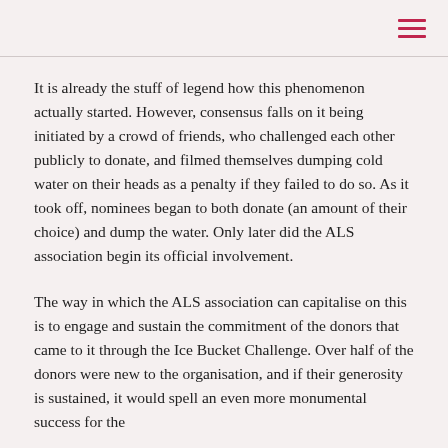≡
It is already the stuff of legend how this phenomenon actually started. However, consensus falls on it being initiated by a crowd of friends, who challenged each other publicly to donate, and filmed themselves dumping cold water on their heads as a penalty if they failed to do so. As it took off, nominees began to both donate (an amount of their choice) and dump the water. Only later did the ALS association begin its official involvement.
The way in which the ALS association can capitalise on this is to engage and sustain the commitment of the donors that came to it through the Ice Bucket Challenge. Over half of the donors were new to the organisation, and if their generosity is sustained, it would spell an even more monumental success for the